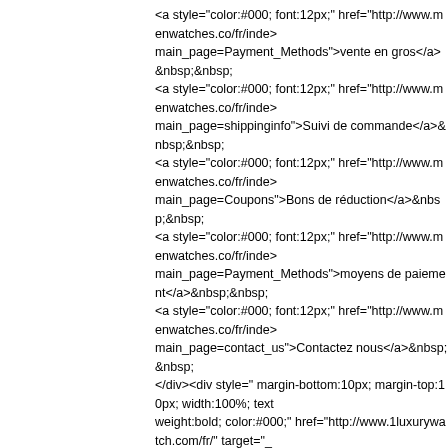<a style="color:#000; font:12px;" href="http://www.menwatches.co/fr/index main_page=Payment_Methods">vente en gros</a>&nbsp;&nbsp; <a style="color:#000; font:12px;" href="http://www.menwatches.co/fr/index main_page=shippinginfo">Suivi de commande</a>&nbsp;&nbsp; <a style="color:#000; font:12px;" href="http://www.menwatches.co/fr/index main_page=Coupons">Bons de réduction</a>&nbsp;&nbsp; <a style="color:#000; font:12px;" href="http://www.menwatches.co/fr/index main_page=Payment_Methods">moyens de paiement</a>&nbsp;&nbsp; <a style="color:#000; font:12px;" href="http://www.menwatches.co/fr/index main_page=contact_us">Contactez nous</a>&nbsp;&nbsp; </div><div style=" margin-bottom:10px; margin-top:10px; width:100%; text weight:bold; color:#000;" href="http://www.1luxurywatch.com/fr/" target="_ réplique</a>&nbsp;&nbsp; <a style="font-weight:bold; color:#000;" href="http://www.1luxurywatch.co Philippe réplique</a>&nbsp;&nbsp; <a style="font-weight:bold; color:#000;" href="http://www.1luxurywatch.co Replica</a>&nbsp;&nbsp; <a style="font-weight:bold; color:#000;" href="http://www.1luxurywatch.co Watches</a>&nbsp;&nbsp; <a style="font-weight:bold; color:#000;" href="http://www.1luxurywatch.co de marque TOP</a>&nbsp;&nbsp; </div><DIV align="center"> <a href="http://www.menwatches.co/fr/les-mon src="http://www.menwatches.co/fr/includes/templates/polo/images/paymer <div align="center" style="color:#000;">Copyright © 2,015 Tous droits rése